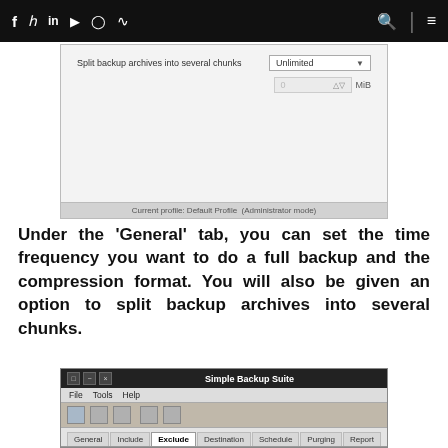f  y  in  yt  ig  rss  [search] [menu]
[Figure (screenshot): Software UI screenshot showing 'Split backup archives into several chunks' option with 'Unlimited' dropdown and a 0 MiB spinner field. Footer reads: Current profile: Default Profile (Administrator mode)]
Under the 'General' tab, you can set the time frequency you want to do a full backup and the compression format. You will also be given an option to split backup archives into several chunks.
[Figure (screenshot): Simple Backup Suite application window showing File, Tools, Help menu, toolbar icons, and tabs: General, Include, Exclude (active/selected), Destination, Schedule, Purging, Report]